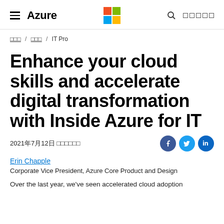≡ Azure  [Microsoft Logo]  🔍  □□□□□
□□□ / □□□ / IT Pro
Enhance your cloud skills and accelerate digital transformation with Inside Azure for IT
2021年7月12日 □□□□□□
Erin Chapple
Corporate Vice President, Azure Core Product and Design
Over the last year, we've seen accelerated cloud adoption